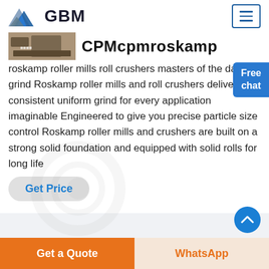[Figure (logo): GBM company logo with mountain/triangular shapes in blue and grey, followed by bold text GBM]
[Figure (screenshot): Small thumbnail image (appears to be machinery/equipment) next to CPMcpmroskamp heading]
CPMcpmroskamp
roskamp roller mills roll crushers masters of the daily grind Roskamp roller mills and roll crushers deliver consistent uniform grind for every application imaginable Engineered to give you precise particle size control Roskamp roller mills and crushers are built on a strong solid foundation and equipped with solid rolls for long life
[Figure (illustration): Free chat widget button in blue with a person illustration, labeled 'Free chat']
Get Price
Get a Quote   WhatsApp